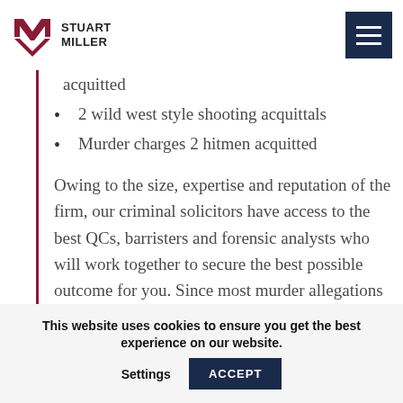Stuart Miller - navigation header
acquitted
2 wild west style shooting acquittals
Murder charges 2 hitmen acquitted
Owing to the size, expertise and reputation of the firm, our criminal solicitors have access to the best QCs, barristers and forensic analysts who will work together to secure the best possible outcome for you. Since most murder allegations feature telephone and covert surveillance evidence, we are closely
This website uses cookies to ensure you get the best experience on our website. Settings ACCEPT